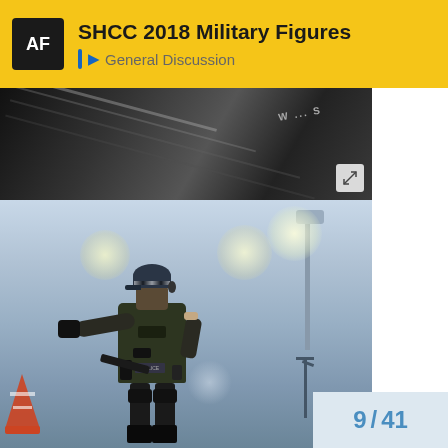SHCC 2018 Military Figures | General Discussion
[Figure (photo): Top cropped photo showing close-up of military figure accessories or equipment with dark metallic tones]
[Figure (photo): Full photo of a detailed military action figure/diorama depicting a tactical police or military operator in full gear with vest, cap, face covering, gloves, and equipment, posed with arm extended, set against a blue-grey misty background with street lamp and traffic cone]
9 / 41